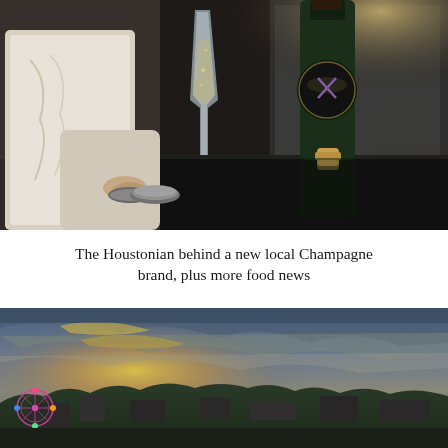[Figure (photo): A person in a white embroidered jacket holds a champagne flute on a reflective black surface next to a dark green champagne bottle with a label and a cork, in a dimly lit interior setting.]
The Houstonian behind a new local Champagne brand, plus more food news
[Figure (photo): Aerial/elevated view of a cityscape at dusk or sunset, with a dramatic sky featuring golden light and clouds, green tree canopy below, and buildings including what appears to be a Ferris wheel on the left side.]